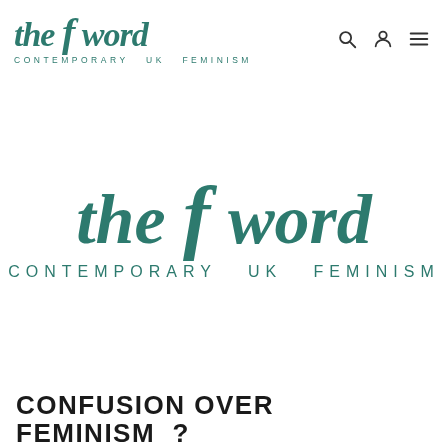the f word CONTEMPORARY UK FEMINISM
[Figure (logo): The F Word logo - 'the f word' in teal italic serif font with tagline 'CONTEMPORARY UK FEMINISM' centered on page]
CONFUSION OVER FEMINISM...?